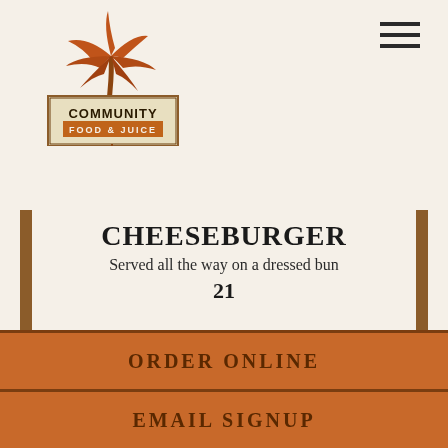[Figure (logo): Community Food & Juice logo with palm tree illustration and text sign]
CHEESEBURGER
Served all the way on a dressed bun
21
BROCCOLI REUBEN
Red kraut, Swiss, Russian dressing prepared vegan upon request
ORDER ONLINE
EMAIL SIGNUP